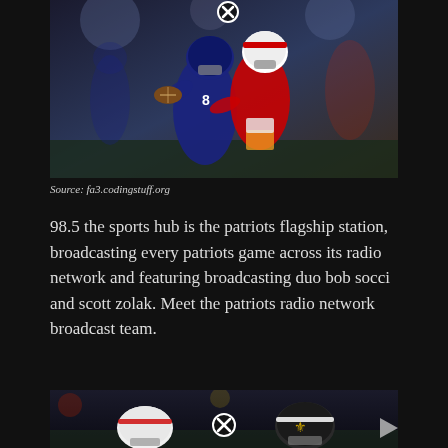[Figure (photo): Football action photo showing a New England Patriots player in dark blue uniform catching/carrying the ball while being tackled by a Kansas City Chiefs player in red and white uniform. A circled X icon appears near the top center of the image.]
Source: fa3.codingstuff.org
98.5 the sports hub is the patriots flagship station, broadcasting every patriots game across its radio network and featuring broadcasting duo bob socci and scott zolak. Meet the patriots radio network broadcast team.
[Figure (photo): Partial photo at bottom showing football players with helmets visible, one white helmet on left, a circled X icon in center, and a black and white helmet on right, on a dark field background. A play button arrow icon is visible on the right side.]